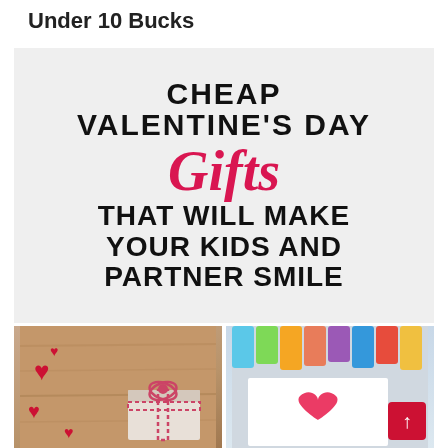Under 10 Bucks
[Figure (infographic): Graphic banner on light grey background with text: CHEAP VALENTINE'S DAY Gifts THAT WILL MAKE YOUR KIDS AND PARTNER SMILE. 'Gifts' is in large red italic script font; remaining text is in large bold black uppercase sans-serif.]
[Figure (photo): Two photos side by side. Left photo: wooden surface with red heart cutouts and a gift box with red and white gingham ribbon. Right photo: colored markers/crayons at top, white card with a hand-drawn red heart, and a red scroll-to-top button in the bottom right corner.]